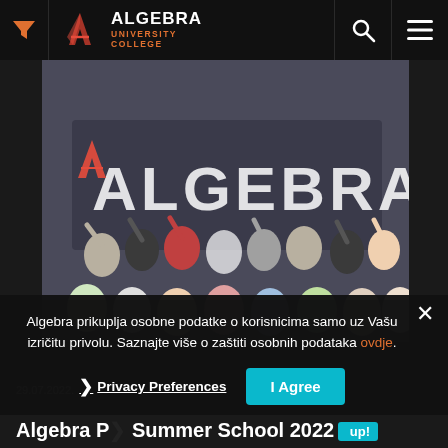Algebra University College
[Figure (photo): Group photo of students waving in front of an Algebra University College banner]
Algebra prikuplja osobne podatke o korisnicima samo uz Vašu izričitu privolu. Saznajte više o zaštiti osobnih podataka ovdje.
29.07.2022.
Algebra Public Summer School 2022 wrap up!